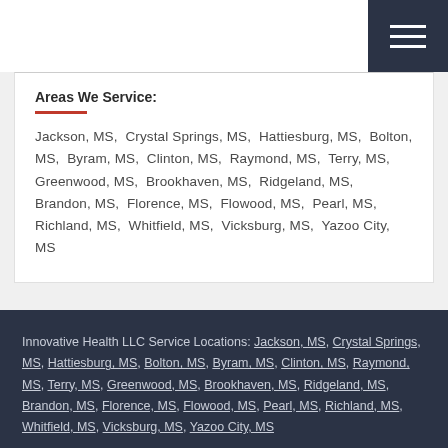Areas We Service:
Jackson, MS,  Crystal Springs, MS,  Hattiesburg, MS,  Bolton, MS,  Byram, MS,  Clinton, MS,  Raymond, MS,  Terry, MS,  Greenwood, MS,  Brookhaven, MS,  Ridgeland, MS,  Brandon, MS,  Florence, MS,  Flowood, MS,  Pearl, MS,  Richland, MS,  Whitfield, MS,  Vicksburg, MS,  Yazoo City, MS
Innovative Health LLC Service Locations: Jackson, MS, Crystal Springs, MS, Hattiesburg, MS, Bolton, MS, Byram, MS, Clinton, MS, Raymond, MS, Terry, MS, Greenwood, MS, Brookhaven, MS, Ridgeland, MS, Brandon, MS, Florence, MS, Flowood, MS, Pearl, MS, Richland, MS, Whitfield, MS, Vicksburg, MS, Yazoo City, MS